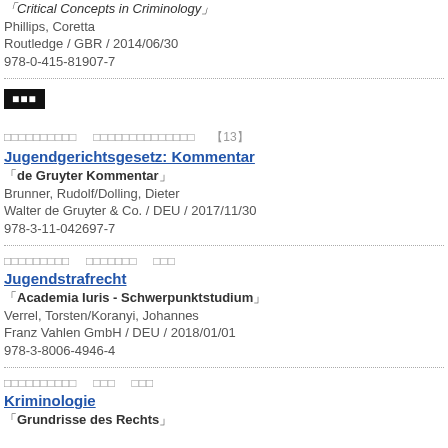【Critical Concepts in Criminology】
Phillips, Coretta
Routledge / GBR / 2014/06/30　　
978-0-415-81907-7
[Figure (other): Black tag/badge with non-Latin characters (Japanese/Chinese)]
（tags row with non-Latin characters）　（tags row with non-Latin characters）　【13】
Jugendgerichtsgesetz: Kommentar
【de Gruyter Kommentar】
Brunner, Rudolf/Dolling, Dieter
Walter de Gruyter & Co. / DEU / 2017/11/30　　
978-3-11-042697-7
（tags row）　（tags row）　（tags row）
Jugendstrafrecht
【Academia Iuris - Schwerpunktstudium】
Verrel, Torsten/Koranyi, Johannes
Franz Vahlen GmbH / DEU / 2018/01/01　　
978-3-8006-4946-4
（tags row）　（tags row）　（tags row）
Kriminologie
【Grundrisse des Rechts】